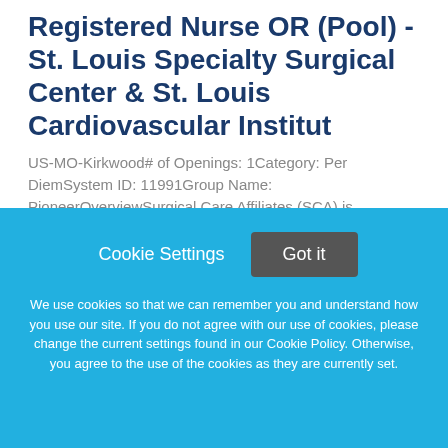Registered Nurse OR (Pool) - St. Louis Specialty Surgical Center & St. Louis Cardiovascular Institut
US-MO-Kirkwood# of Openings: 1Category: Per DiemSystem ID: 11991Group Name: PioneerOverviewSurgical Care Affiliates (SCA) is transforming specialty care in our communities. We
This job listing is no longer active.
Cookie Settings   Got it
We use cookies so that we can remember you and understand how you use our site. If you do not agree with our use of cookies, please change the current settings found in our Cookie Policy. Otherwise, you agree to the use of the cookies as they are currently set.